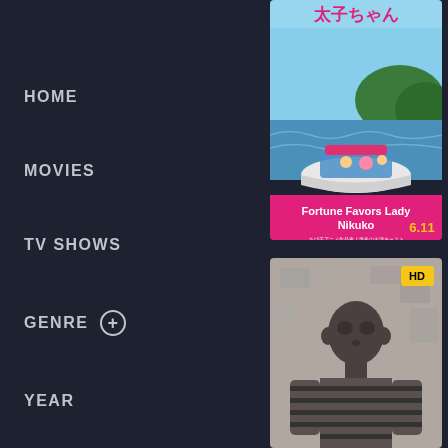HOME
MOVIES
TV SHOWS
GENRE
YEAR
COUNTRY
Top IMDB
[Figure (photo): Movie poster for 'Fortune Favors Lady Nikuko' – Japanese animated film showing characters on a boat with Japanese text and the date 6.11]
Fortune Favors Lady Nikuko
[Figure (photo): Black and white movie poster showing a young child in striped clothing, with an HD badge in the top right corner]